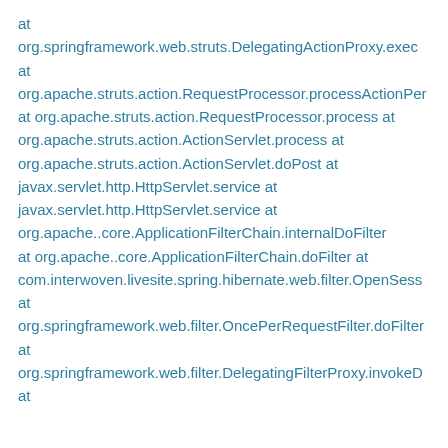at org.springframework.web.struts.DelegatingActionProxy.exec at org.apache.struts.action.RequestProcessor.processActionPer at org.apache.struts.action.RequestProcessor.process at org.apache.struts.action.ActionServlet.process at org.apache.struts.action.ActionServlet.doPost at javax.servlet.http.HttpServlet.service at javax.servlet.http.HttpServlet.service at org.apache..core.ApplicationFilterChain.internalDoFilter at org.apache..core.ApplicationFilterChain.doFilter at com.interwoven.livesite.spring.hibernate.web.filter.OpenSess at org.springframework.web.filter.OncePerRequestFilter.doFilter at org.springframework.web.filter.DelegatingFilterProxy.invokeD at